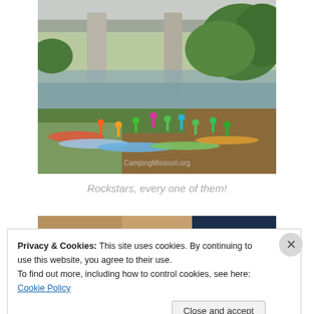[Figure (photo): Group of campers with kayaks and canoes on a riverbank under a concrete bridge, surrounded by green trees. Watermark reads CampingMissouri.org]
Rockstars, every one of them!
[Figure (photo): Partially visible second photo, cropped — appears to show hands and a dark blue background]
Privacy & Cookies: This site uses cookies. By continuing to use this website, you agree to their use.
To find out more, including how to control cookies, see here: Cookie Policy
Close and accept